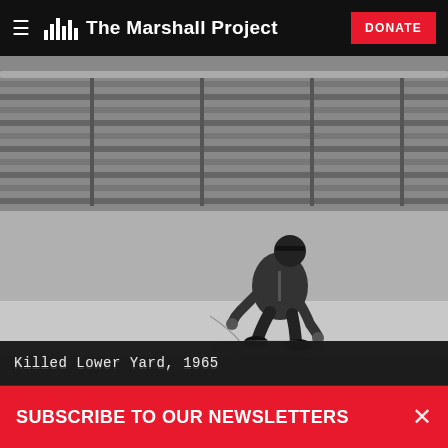The Marshall Project — DONATE
[Figure (photo): Black and white photograph of a uniformed officer crouching down and examining a crack or mark on the edge of a concrete wall or barrier, with stadium bleachers visible in the background. The scene appears to be inside an arena or stadium in 1965.]
Killed Lower Yard, 1965
SUBSCRIBE TO OUR NEWSLETTERS